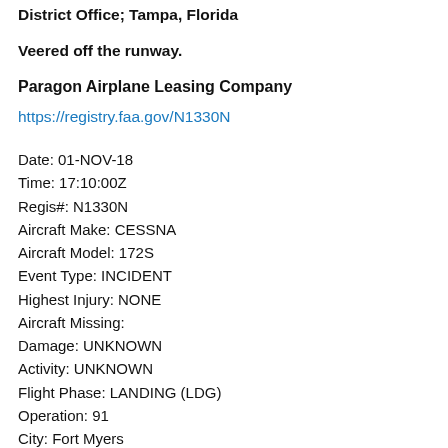District Office; Tampa, Florida
Veered off the runway.
Paragon Airplane Leasing Company
https://registry.faa.gov/N1330N
Date: 01-NOV-18
Time: 17:10:00Z
Regis#: N1330N
Aircraft Make: CESSNA
Aircraft Model: 172S
Event Type: INCIDENT
Highest Injury: NONE
Aircraft Missing:
Damage: UNKNOWN
Activity: UNKNOWN
Flight Phase: LANDING (LDG)
Operation: 91
City: Fort Myers
State: FLORIDA